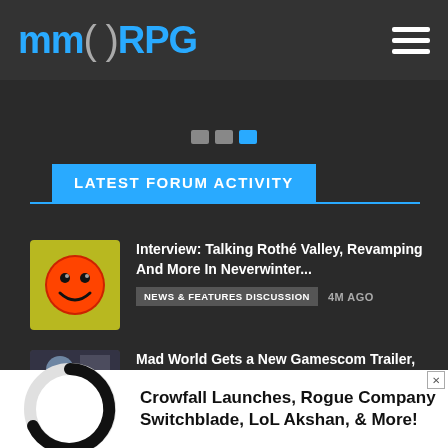MMORPG
[Figure (logo): MMORPG.com logo in blue with grey parentheses]
LATEST FORUM ACTIVITY
[Figure (illustration): Yellow/green background avatar with red circle smiley face icon]
Interview: Talking Rothé Valley, Revamping And More In Neverwinter...
NEWS & FEATURES DISCUSSION   4M AGO
[Figure (photo): Partial game screenshot thumbnail]
Mad World Gets a New Gamescom Trailer, Showing off Huge Monstrous
[Figure (illustration): Loading spinner circle icon]
Crowfall Launches, Rogue Company Switchblade, LoL Akshan, & More!